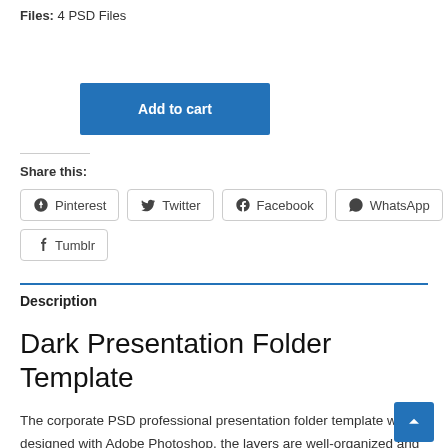Files: 4 PSD Files
Add to cart
Share this:
Pinterest
Twitter
Facebook
WhatsApp
Tumblr
Description
Dark Presentation Folder Template
The corporate PSD professional presentation folder template was designed with Adobe Photoshop, the layers are well-organized and editable. The business presentation folder template is suitable for